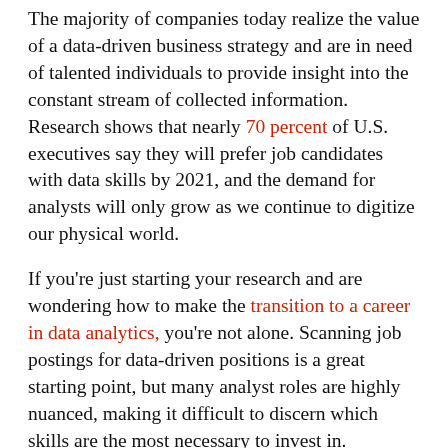The majority of companies today realize the value of a data-driven business strategy and are in need of talented individuals to provide insight into the constant stream of collected information. Research shows that nearly 70 percent of U.S. executives say they will prefer job candidates with data skills by 2021, and the demand for analysts will only grow as we continue to digitize our physical world.
If you're just starting your research and are wondering how to make the transition to a career in data analytics, you're not alone. Scanning job postings for data-driven positions is a great starting point, but many analyst roles are highly nuanced, making it difficult to discern which skills are the most necessary to invest in.
At Northeastern, our analytics master's programs have been designed to provide students with the specialized combination of skills they need to not only thrive in their work but to land a top position in the field of data analytics.